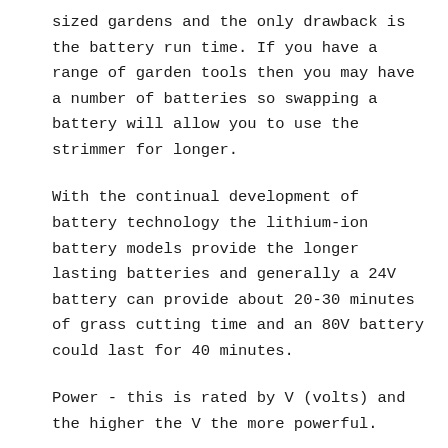sized gardens and the only drawback is the battery run time. If you have a range of garden tools then you may have a number of batteries so swapping a battery will allow you to use the strimmer for longer.
With the continual development of battery technology the lithium-ion battery models provide the longer lasting batteries and generally a 24V battery can provide about 20-30 minutes of grass cutting time and an 80V battery could last for 40 minutes.
Power - this is rated by V (volts) and the higher the V the more powerful.
Electric Strimmers